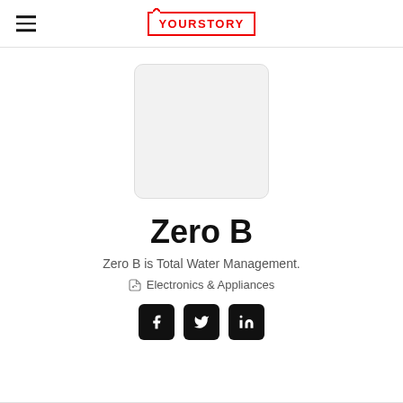YOURSTORY
[Figure (illustration): Placeholder image box with light gray background and rounded corners]
Zero B
Zero B is Total Water Management.
Electronics & Appliances
[Figure (illustration): Social media icons: Facebook, Twitter, LinkedIn in black rounded square buttons]